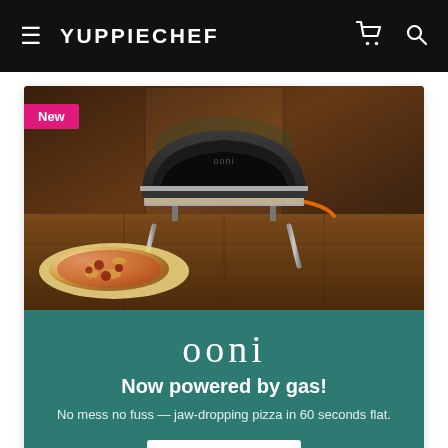YUPPIECHEF
[Figure (photo): Ooni gas-powered pizza oven on a wooden outdoor table with a cooked pizza visible in the foreground. A pink 'New' badge is shown in the top-left corner of the image.]
ooni
Now powered by gas!
No mess no fuss — jaw-dropping pizza in 60 seconds flat.